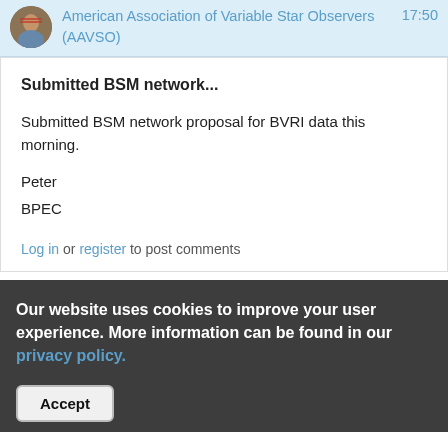American Association of Variable Star Observers (AAVSO)   17:50
Submitted BSM network...
Submitted BSM network proposal for BVRI data this morning.
Peter
BPEC
Log in or register to post comments
Our website uses cookies to improve your user experience. More information can be found in our privacy policy.
Accept